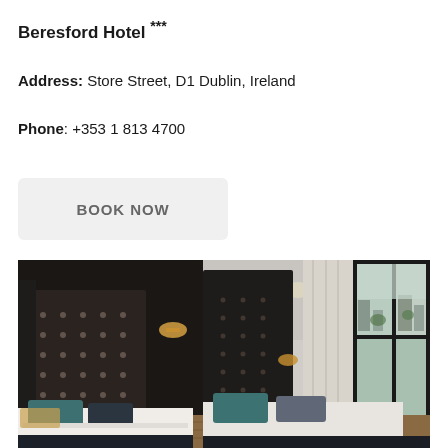Beresford Hotel ***
Address:  Store Street, D1 Dublin, Ireland
Phone:  +353 1 813 4700
BOOK NOW
[Figure (photo): Hotel room interior showing two beds with dark teal and grey pillows, dark decorative headboards with stud details, wall lights, white curtains, and large floor-to-ceiling windows overlooking a city street in Dublin.]